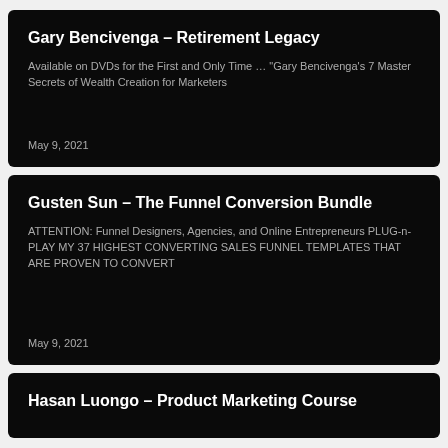Gary Bencivenga – Retirement Legacy
Available on DVDs for the First and Only Time … "Gary Bencivenga's 7 Master Secrets of Wealth Creation for Marketers
May 9, 2021
Gusten Sun – The Funnel Conversion Bundle
ATTENTION: Funnel Designers, Agencies, and Online Entrepreneurs PLUG-n-PLAY MY 37 HIGHEST CONVERTING SALES FUNNEL TEMPLATES THAT ARE PROVEN TO CONVERT
May 9, 2021
Hasan Luongo – Product Marketing Course